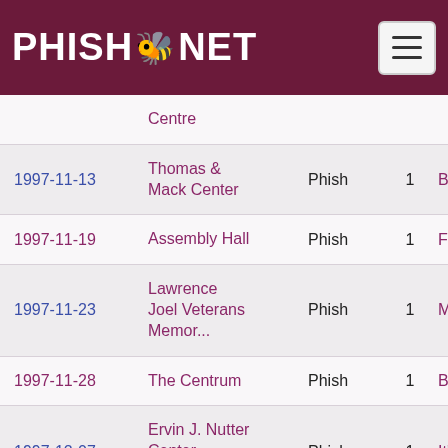PHISH.NET
| Date | Venue | Artist | # | Song |
| --- | --- | --- | --- | --- |
|  | Centre |  |  |  |
| 1997-11-13 | Thomas & Mack Center | Phish | 1 | BEK |
| 1997-11-19 | Assembly Hall | Phish | 1 | Funky |
| 1997-11-23 | Lawrence Joel Veterans Memor... | Phish | 1 | My Sou |
| 1997-11-28 | The Centrum | Phish | 1 | BEK |
| 1997-12-07 | Ervin J. Nutter Center, Wrig... | Phish | 1 | It's Ice |
| 1997-12-13 | Pepsi Arena | Phish | 1 | Axilla > |
| 1997-12-29 | MSG | Phish | 1 | Train S |